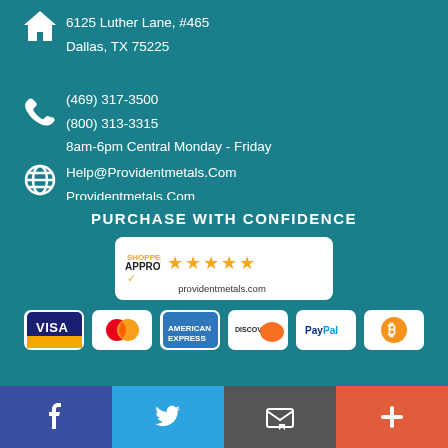6125 Luther Lane, #465
Dallas, TX 75225
(469) 317-3500
(800) 313-3315
8am-6pm Central Monday - Friday
Help@Providentmetals.Com
Providentmetals.Com
PURCHASE WITH CONFIDENCE
[Figure (logo): Shopper Approved badge with 5 stars and providentmetals.com]
[Figure (logo): Payment method icons: Visa, Mastercard, American Express, Discover, PayPal, Bitcoin]
[Figure (infographic): Social media bar with Facebook, Twitter, Email/contact, and plus button]